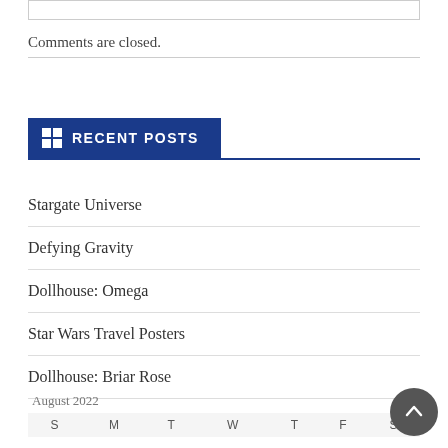Comments are closed.
RECENT POSTS
Stargate Universe
Defying Gravity
Dollhouse: Omega
Star Wars Travel Posters
Dollhouse: Briar Rose
August 2022
| S | M | T | W | T | F | S |
| --- | --- | --- | --- | --- | --- | --- |